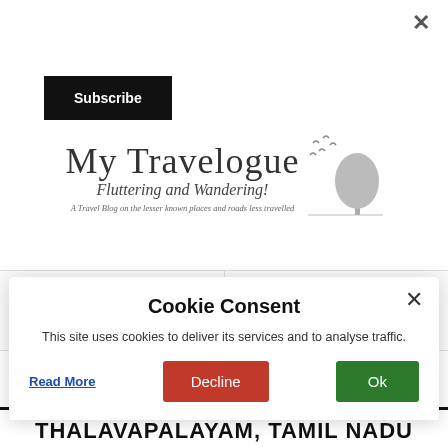[Figure (logo): My Travelogue blog logo with title, subtitle 'Fluttering and Wandering!', tagline 'A Travel Blog on the lesser known places and roads less travelled', and silhouette of tree and birds]
200
9
[Figure (infographic): Speech bubble / comment icon with a horizontal line below]
THALAVAPALAYAM, TAMIL NADU
Cookie Consent
This site uses cookies to deliver its services and to analyse traffic.
Read More
Decline
Ok